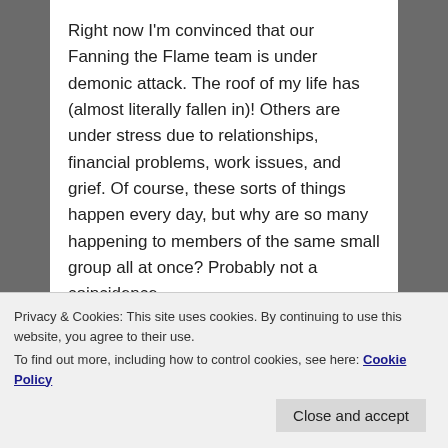Right now I'm convinced that our Fanning the Flame team is under demonic attack. The roof of my life has (almost literally fallen in)! Others are under stress due to relationships, financial problems, work issues, and grief. Of course, these sorts of things happen every day, but why are so many happening to members of the same small group all at once? Probably not a coincidence.
It's simple. The devil wants to distract us from the good work we are trying to do for St. Paul's. As my husband is fond of saying, he doesn't need to bother with unbelievers — he already has them in his clutches. The kind of pressure many of us are undergoing makes us irritable and quick to anger. It disrupts our unity. It makes us.
Privacy & Cookies: This site uses cookies. By continuing to use this website, you agree to their use.
To find out more, including how to control cookies, see here: Cookie Policy
Close and accept